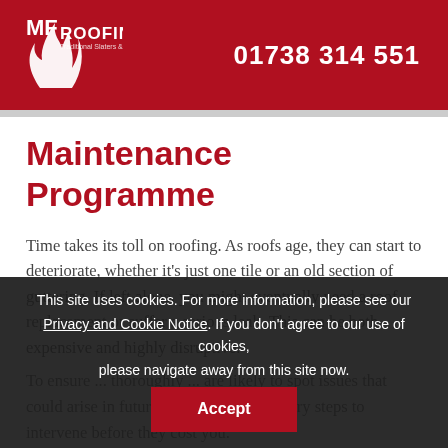[Figure (logo): MF Roofing logo — white house/flame icon with MF Roofing text on dark red background]
01738 314 551
Maintenance Programme
Time takes its toll on roofing. As roofs age, they can start to deteriorate, whether it's just one tile or an old section of guttering. If left alone, you might eventually need a roof replacement or suffer a serious leak. This can be both expensive and highly disruptive.
To ensure ... thoroughly ... likely to spot issues that could arise in future and take the necessary steps to intervene before they cost you.
This site uses cookies. For more information, please see our Privacy and Cookie Notice. If you don't agree to our use of cookies, please navigate away from this site now.
Accept